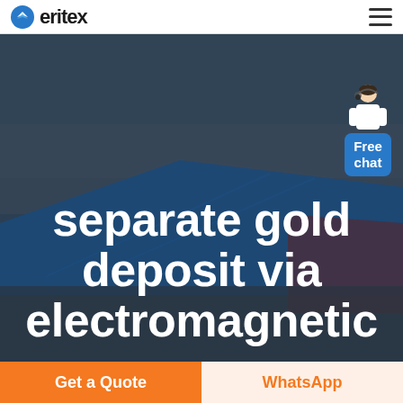eritex
[Figure (photo): Aerial drone photo of a large industrial facility with blue rooftop structures, fields and roads visible in the background. Dark overlay tint applied. A person (customer service representative) figure is in the upper right corner with a 'Free chat' callout box.]
separate gold deposit via electromagnetic
Get a Quote
WhatsApp